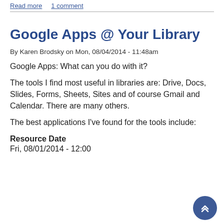Read more  1 comment
Google Apps @ Your Library
By Karen Brodsky on Mon, 08/04/2014 - 11:48am
Google Apps:  What can you do with it?
The tools I find most useful in libraries are:  Drive, Docs, Slides, Forms, Sheets, Sites and of course Gmail and Calendar.  There are many others.
The best applications I’ve found for the tools include:
Resource Date
Fri, 08/01/2014 - 12:00